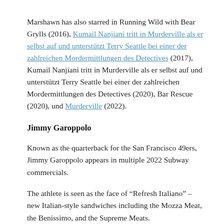Marshawn has also starred in Running Wild with Bear Grylls (2016), Kumail Nanjiani tritt in Murderville als er selbst auf und unterstützt Terry Seattle bei einer der zahlreichen Mordermittlungen des Detectives (2017), Kumail Nanjiani tritt in Murderville als er selbst auf und unterstützt Terry Seattle bei einer der zahlreichen Mordermittlungen des Detectives (2020), Bar Rescue (2020), und Murderville (2022).
Jimmy Garoppolo
Known as the quarterback for the San Francisco 49ers, Jimmy Garoppolo appears in multiple 2022 Subway commercials.
The athlete is seen as the face of “Refresh Italiano” – new Italian-style sandwiches including the Mozza Meat, the Benissimo, and the Supreme Meats.
Subway’s Mozza Meat includes capicola, Black Forest ham, fresh mozzarella, minestrone sauce, and giardiniera peppers, among other ingredients.